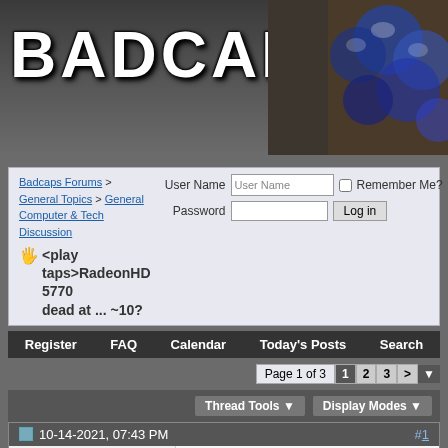[Figure (screenshot): Badcaps.net forum website banner with large grunge-style text logo and capacitor image on right]
Badcaps Forums > General Topics > General Computer & Tech Discussion
<play taps>RadeonHD 5770 dead at ... ~10?
User Name | Password | Remember Me? | Log in
Register  FAQ  Calendar  Today's Posts  Search
Page 1 of 3  1  2  3  >
Thread Tools  Display Modes
10-14-2021, 07:43 PM   #1
eccerr0r
Solder Sloth
<play taps>RadeonHD 5770 dead at ... ~10?

Well... it was a good run after 10 years I think.

My computer with the